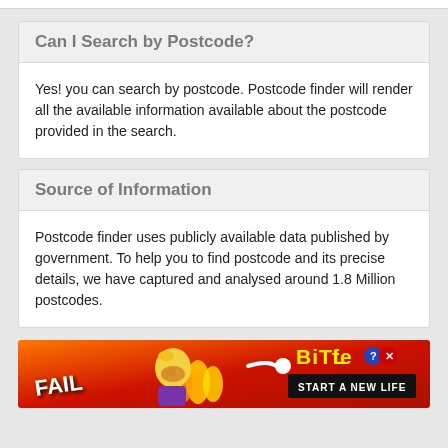Can I Search by Postcode?
Yes! you can search by postcode. Postcode finder will render all the available information available about the postcode provided in the search.
Source of Information
Postcode finder uses publicly available data published by government. To help you to find postcode and its precise details, we have captured and analysed around 1.8 Million postcodes.
[Figure (illustration): Advertisement banner for BitLife game with red/orange fire background, FAIL text, cartoon character, and BitLife START A NEW LIFE text]